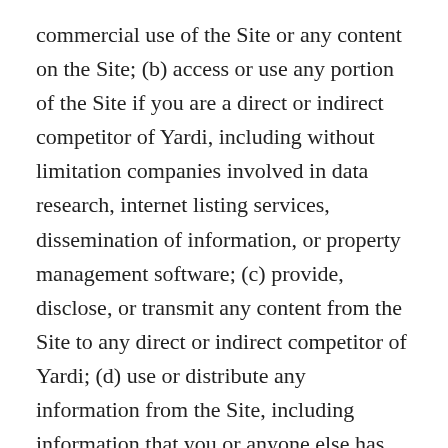commercial use of the Site or any content on the Site; (b) access or use any portion of the Site if you are a direct or indirect competitor of Yardi, including without limitation companies involved in data research, internet listing services, dissemination of information, or property management software; (c) provide, disclose, or transmit any content from the Site to any direct or indirect competitor of Yardi; (d) use or distribute any information from the Site, including information that you or anyone else has verified, to directly or indirectly create or contribute to the development of any database or product; (e) reproduce, copy, display, store, perform, re-post, publish, transmit, distribute, sell, offer for sale, license, modify, create derivative works, or otherwise use any portion of the content offered on the Site for other